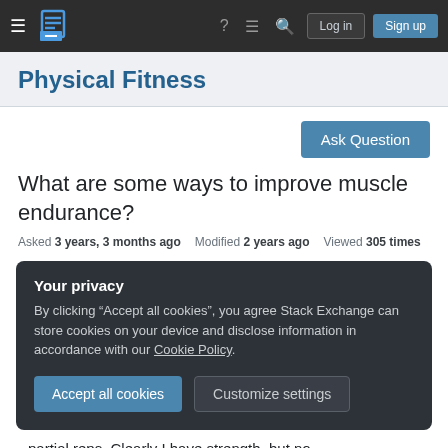≡  [Stack Exchange logo]  ?  ≡  🔍  Log in  Sign up
Physical Fitness
Ask Question
What are some ways to improve muscle endurance?
Asked 3 years, 3 months ago   Modified 2 years ago   Viewed 305 times
Your privacy
By clicking "Accept all cookies", you agree Stack Exchange can store cookies on your device and disclose information in accordance with our Cookie Policy.
Accept all cookies   Customize settings
partial reps. Clearly I have strength, but no